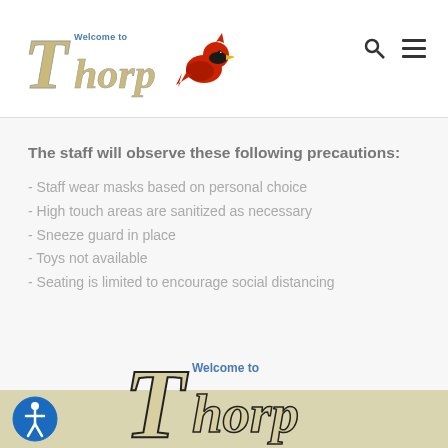Welcome to Thorp
The staff will observe these following precautions:
- Staff wear masks based on personal choice
- High touch areas are sanitized as necessary
- Sneeze guard in place
- Toys not available
- Seating is limited to encourage social distancing
[Figure (logo): Welcome to Thorp logo with cardinal bird in footer]
[Figure (logo): Circular accessibility icon button (blue)]